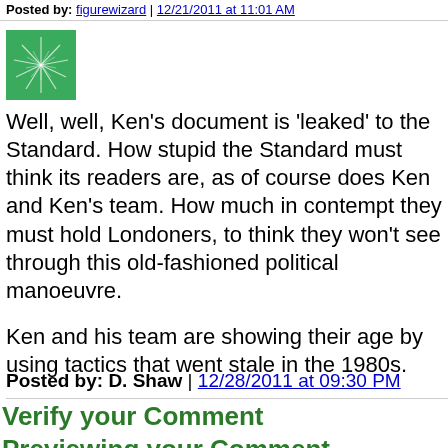Posted by: figurewizard | 12/21/2011 at 11:01 AM
[Figure (illustration): Green fractal/spiral avatar image]
Well, well, Ken's document is 'leaked' to the Standard. How stupid the Standard must think its readers are, as of course does Ken and Ken's team. How much in contempt they must hold Londoners, to think they won't see through this old-fashioned political manoeuvre.

Ken and his team are showing their age by using tactics that went stale in the 1980s.
Posted by: D. Shaw | 12/28/2011 at 09:30 PM
Verify your Comment
Previewing your Comment